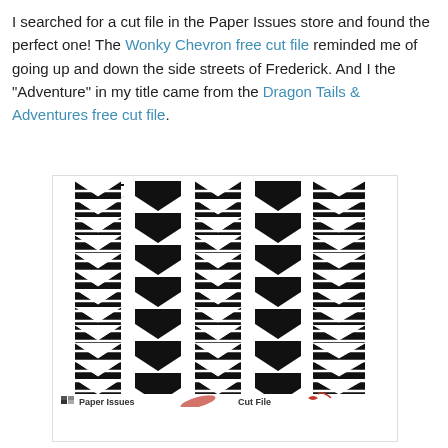I searched for a cut file in the Paper Issues store and found the perfect one! The Wonky Chevron free cut file reminded me of going up and down the side streets of Frederick. And I the "Adventure" in my title came from the Dragon Tails & Adventures free cut file.
[Figure (illustration): Wonky Chevron free cut file preview showing five vertical chevron/arrow stripe patterns in black and white, with Paper Issues Cut File branding at the bottom.]